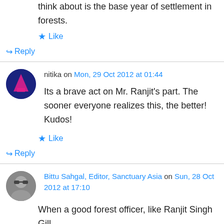think about is the base year of settlement in forests.
Like
↪ Reply
nitika on Mon, 29 Oct 2012 at 01:44
Its a brave act on Mr. Ranjit's part. The sooner everyone realizes this, the better! Kudos!
Like
↪ Reply
Bittu Sahgal, Editor, Sanctuary Asia on Sun, 28 Oct 2012 at 17:10
When a good forest officer, like Ranjit Singh Gill